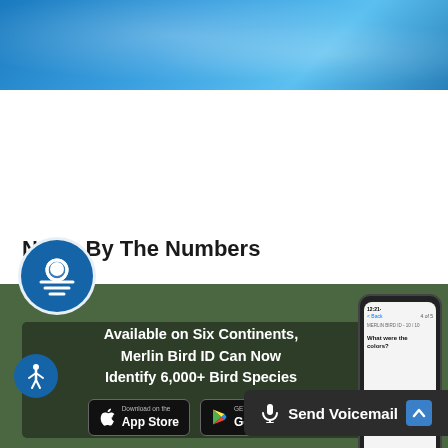[Figure (screenshot): Blue gradient header banner at top of page]
[Figure (logo): Circular logo with white sun/horizon icon on blue gradient banner]
News By The Numbers
[Figure (screenshot): Green background promotional box showing Merlin Bird ID app. Text reads: Available on Six Continents, Merlin Bird ID Can Now Identify 6,000+ Bird Species. App Store and Google Play download buttons. Phone screen visible on right showing app interface with text 'What were the...colors?']
[Figure (screenshot): Accessibility icon button (person in circle) bottom left]
[Figure (screenshot): Send Voicemail button bottom right with microphone icon]